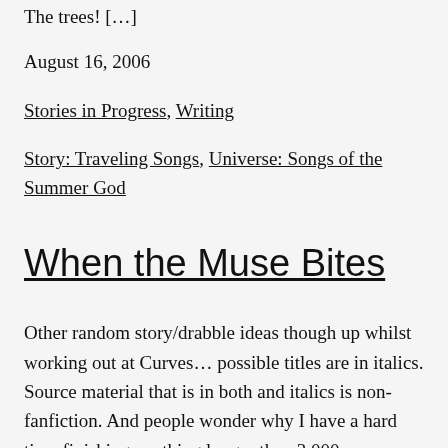The trees!  […]
August 16, 2006
Stories in Progress, Writing
Story: Traveling Songs, Universe: Songs of the Summer God
When the Muse Bites
Other random story/drabble ideas though up whilst working out at Curves… possible titles are in italics. Source material that is in both and italics is non-fanfiction. And people wonder why I have a hard time finishing anything longer than 3,000